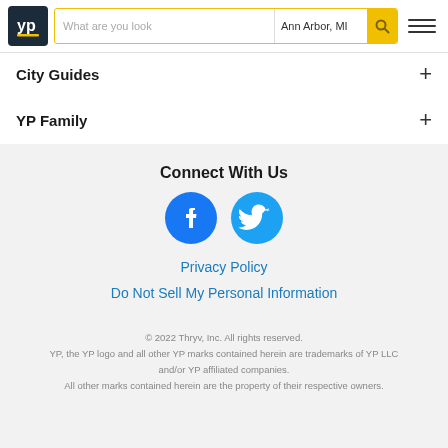YP logo | What are you look... | Ann Arbor, MI | Search | Menu
City Guides
YP Family
Connect With Us
[Figure (logo): Facebook and Twitter social media icons]
Privacy Policy
Do Not Sell My Personal Information
© 2022 Thryv, Inc. All rights reserved.
YP, the YP logo and all other YP marks contained herein are trademarks of YP LLC and/or YP affiliated companies.
All other marks contained herein are the property of their respective owners.